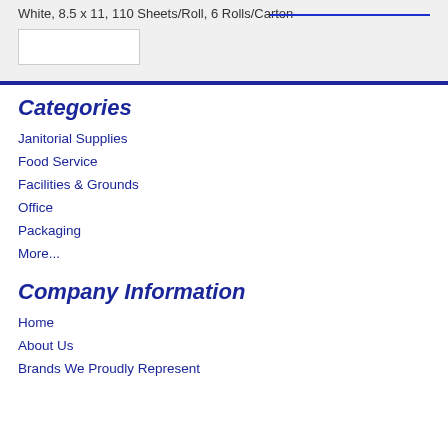White, 8.5 x 11, 110 Sheets/Roll, 6 Rolls/Carton
Categories
Janitorial Supplies
Food Service
Facilities & Grounds
Office
Packaging
More...
Company Information
Home
About Us
Brands We Proudly Represent